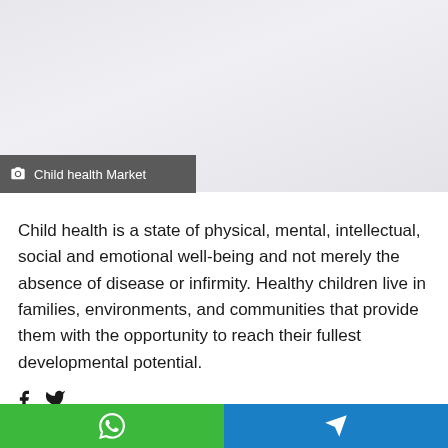[Figure (photo): Light gray placeholder image area representing Child health Market]
Child health Market
Child health is a state of physical, mental, intellectual, social and emotional well-being and not merely the absence of disease or infirmity. Healthy children live in families, environments, and communities that provide them with the opportunity to reach their fullest developmental potential.
Social share icons: Facebook, Twitter, WhatsApp, Telegram